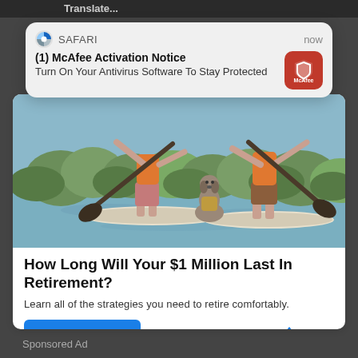Translate...
[Figure (screenshot): Safari browser notification popup: (1) McAfee Activation Notice - Turn On Your Antivirus Software To Stay Protected, with McAfee red icon logo]
[Figure (illustration): Two people and a dog standing on paddleboards on a lake with green trees in the background. Both people wear orange life vests.]
How Long Will Your $1 Million Last In Retirement?
Learn all of the strategies you need to retire comfortably.
Find Out More
🔥 1,075
Sponsored Ad